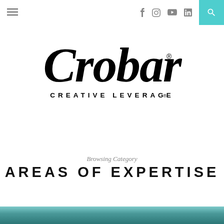Navigation bar with hamburger menu, social icons (Facebook, Instagram, YouTube, LinkedIn), and search button
[Figure (logo): Crobar Creative Leverage logo — script-style wordmark 'Crobar' with registered trademark symbol, and subtitle 'CREATIVE LEVERAGE®' in spaced uppercase sans-serif]
Browsing Category
AREAS OF EXPERTISE
[Figure (photo): Partial photo visible at bottom edge of page]